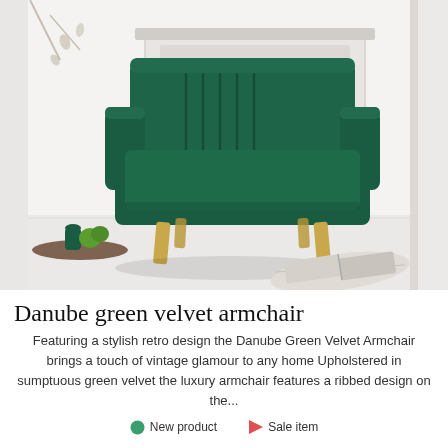[Figure (photo): A dark green velvet armchair with ribbed back design and gold/wooden legs, styled in a bright white room with green apples on a tray and an open magazine on the floor.]
Danube green velvet armchair
Featuring a stylish retro design the Danube Green Velvet Armchair brings a touch of vintage glamour to any home Upholstered in sumptuous green velvet the luxury armchair features a ribbed design on the...
New product   Sale item